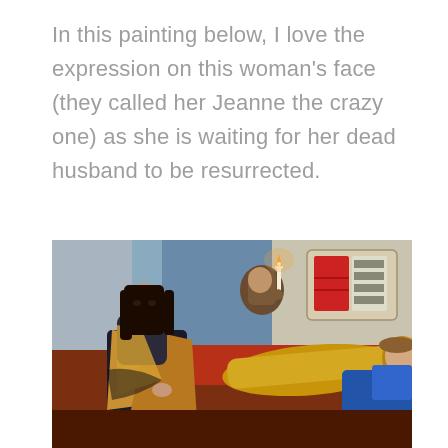In this painting below, I love the expression on this woman's face (they called her Jeanne the crazy one) as she is waiting for her dead husband to be resurrected.
[Figure (illustration): A historical painting depicting a woman with long dark hair in a dark dress with gold trim, seated and looking toward a figure lying down (possibly dead) dressed in golden armor and blue garments. A second figure in the background holds a candle near a draped curtain. A heraldic coat of arms is visible on the upper right.]